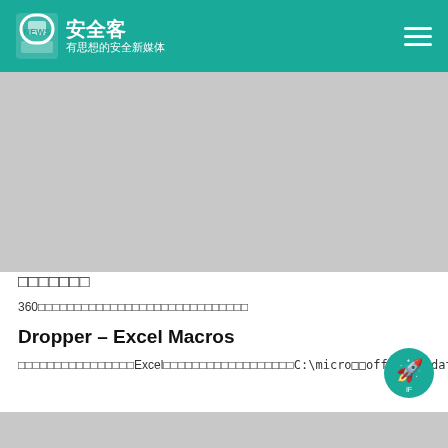安全客 有思想的安全新媒体
[Figure (photo): Gray placeholder image at top of article]
□□□□□□□
360□□□□□□□□□□□□□□□□□□□□□□□□□□□□□
Dropper – Excel Macros
□□□□□□□□□□□□□□□□Excel□□□□□□□□□□□□□□□□□□C:\micro□□office_update.exe□□□□□EXE□□□□□□□□□□□□□□□□□□□□□□□□□□□□□□□□□□□□□□□□□
[Figure (photo): Gray placeholder image at bottom of article]